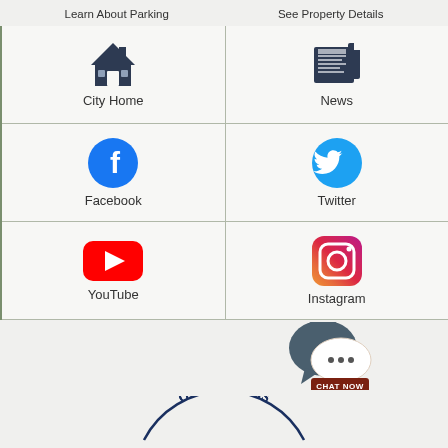Learn About Parking
See Property Details
[Figure (infographic): City Home icon - dark blue house silhouette]
City Home
[Figure (infographic): News icon - newspaper graphic]
News
[Figure (logo): Facebook logo - blue circle with white F]
Facebook
[Figure (logo): Twitter logo - blue circle with white bird]
Twitter
[Figure (logo): YouTube logo - red rectangle with white play button]
YouTube
[Figure (logo): Instagram logo - gradient camera icon]
Instagram
[Figure (infographic): Chat Now widget - speech bubble with dots and brown CHAT NOW button]
[Figure (logo): City of Williamsburg partial arc logo text at bottom]